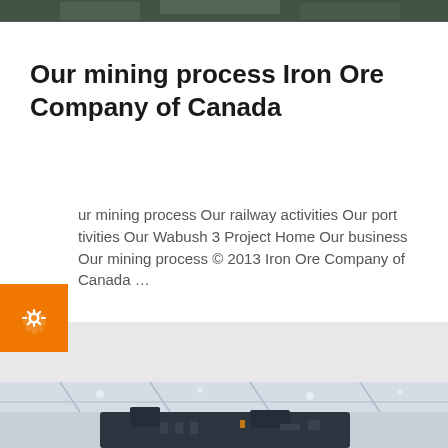[Figure (photo): Industrial mining facility interior, top strip photo]
Our mining process Iron Ore Company of Canada
ur mining process Our railway activities Our port tivities Our Wabush 3 Project Home Our business Our mining process © 2013 Iron Ore Company of Canada …
[Figure (photo): Industrial mining equipment inside a large facility, bottom photo]